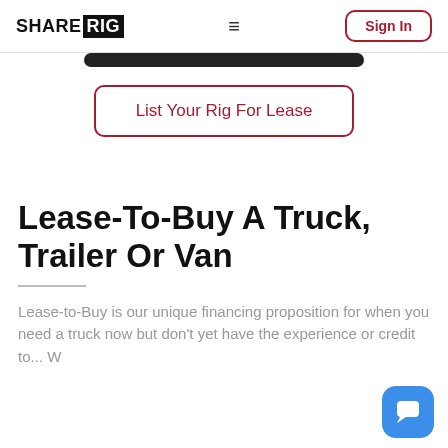SHARERIG — Sign In
[Figure (screenshot): Partially visible dark button at top of page]
List Your Rig For Lease
Lease-To-Buy A Truck, Trailer Or Van
Lease-to-Buy is our unique financing proposition for when you need a truck now but don't yet have the experience or credit to...